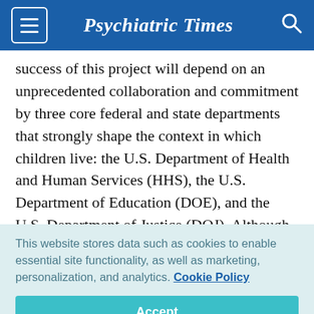Psychiatric Times
success of this project will depend on an unprecedented collaboration and commitment by three core federal and state departments that strongly shape the context in which children live: the U.S. Department of Health and Human Services (HHS), the U.S. Department of Education (DOE), and the U.S. Department of Justice (DOJ). Although children and adolescents with serious emotional disturbances are more likely to receive treatment from a
This website stores data such as cookies to enable essential site functionality, as well as marketing, personalization, and analytics. Cookie Policy
Accept
Deny